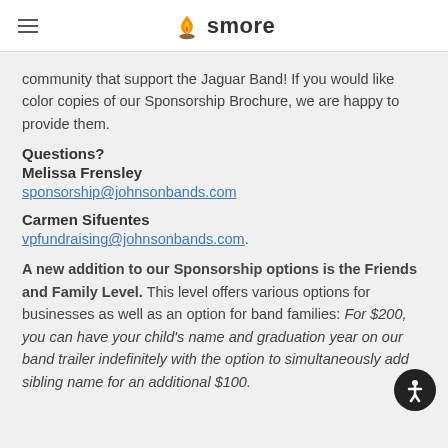smore
community that support the Jaguar Band! If you would like color copies of our Sponsorship Brochure, we are happy to provide them.
Questions?
Melissa Frensley
sponsor ship@johnsonbands.com
Carmen Sifuentes
vpfundraising@johnsonbands.com.
A new addition to our Sponsorship options is the Friends and Family Level. This level offers various options for businesses as well as an option for band families: For $200, you can have your child's name and graduation year on our band trailer indefinitely with the option to simultaneously add sibling name for an additional $100.